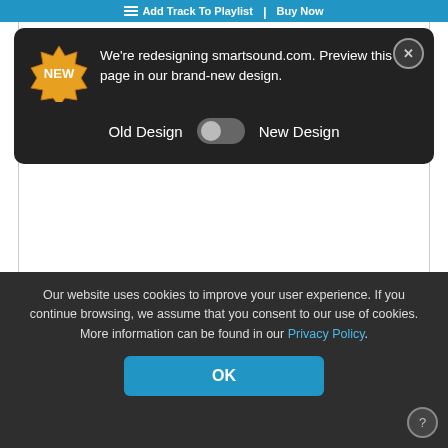Add Track To Playlist | Buy Now
[Figure (screenshot): Dark popup notification: NEW badge (gold starburst), text 'We're redesigning smartsound.com. Preview this page in our brand-new design.' with Old Design / New Design toggle, and close (X) button.]
[Figure (other): Circular play button (black triangle inside circle)]
Genre: Orchestral
Customize Track   More Information
$49.95
Our website uses cookies to improve your user experience. If you continue browsing, we assume that you consent to our use of cookies. More information can be found in our Privacy Policy.
OK